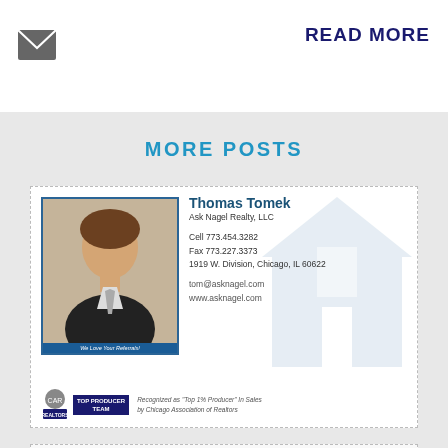[Figure (other): Email envelope icon]
READ MORE
MORE POSTS
[Figure (other): Business card for Thomas Tomek, Ask Nagel Realty LLC. Cell 773.454.3282, Fax 773.227.3373, 1919 W. Division, Chicago, IL 60622, tom@asknagel.com, www.asknagel.com. Top Producer Team badge. Recognized as Top 1% Producer in Sales by Chicago Association of Realtors.]
[Figure (other): Business card for Rich Anselmo at @properties. 1875 North Damen Chicago, IL 60647. T 773.432.0200 F 773.432.0050 C 312.959.0150]